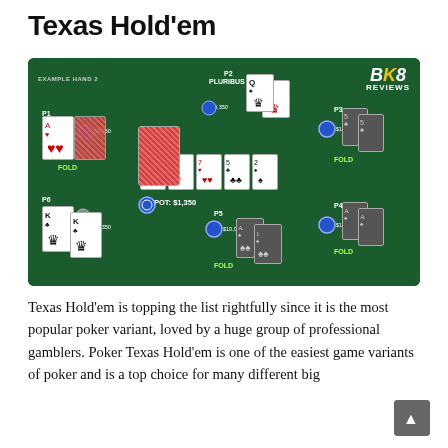Texas Hold'em
[Figure (illustration): Poker table diagram showing Example Hand 2 with players P1-P6 and PLURIBUS (P2). Shows community cards, hole cards, chip amounts ($9,350; $9,950; $10,000), pot of $1,350, and FOLD labels for P1, P3, P4, P5. BK8 Reviews logo in top-right corner.]
Texas Hold'em is topping the list rightfully since it is the most popular poker variant, loved by a huge group of professional gamblers. Poker Texas Hold'em is one of the easiest game variants of poker and is a top choice for many different big